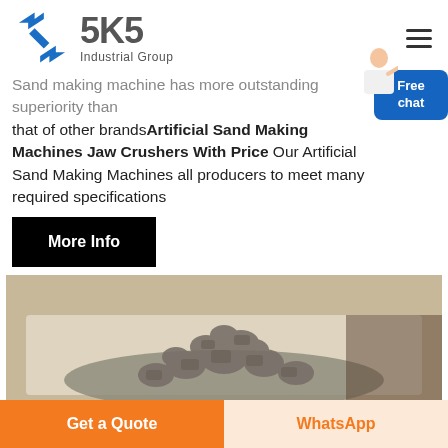[Figure (logo): SKS Industrial Group logo with blue angular S icon and grey SKS text with Industrial Group subtitle]
Sand making machine has more outstanding superiority than that of other brandsArtificial Sand Making Machines Jaw Crushers With Price Our Artificial Sand Making Machines all producers to meet many required specifications
[Figure (illustration): Free chat button bubble in blue with a customer service avatar figure pointing]
[Figure (photo): More Info black button]
[Figure (photo): Photo of a pile of crushed stone/aggregate gravel on a white surface]
Get a Quote
WhatsApp